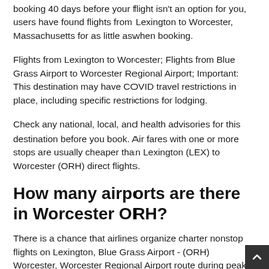booking 40 days before your flight isn't an option for you, users have found flights from Lexington to Worcester, Massachusetts for as little aswhen booking.
Flights from Lexington to Worcester; Flights from Blue Grass Airport to Worcester Regional Airport; Important: This destination may have COVID travel restrictions in place, including specific restrictions for lodging.
Check any national, local, and health advisories for this destination before you book. Air fares with one or more stops are usually cheaper than Lexington (LEX) to Worcester (ORH) direct flights.
How many airports are there in Worcester ORH?
There is a chance that airlines organize charter nonstop flights on Lexington, Blue Grass Airport - (ORH) Worcester, Worcester Regional Airport route during peak travel dates and flight schedule cancellation flight Lexington to Worcester by phone